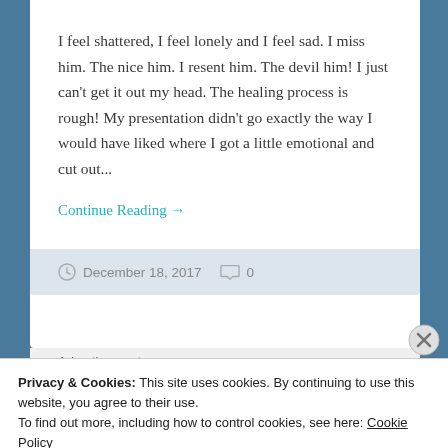I feel shattered, I feel lonely and I feel sad. I miss him. The nice him. I resent him. The devil him! I just can't get it out my head. The healing process is rough! My presentation didn't go exactly the way I would have liked where I got a little emotional and cut out...
Continue Reading →
December 18, 2017   0
Advertisements
Privacy & Cookies: This site uses cookies. By continuing to use this website, you agree to their use.
To find out more, including how to control cookies, see here: Cookie Policy
Close and accept